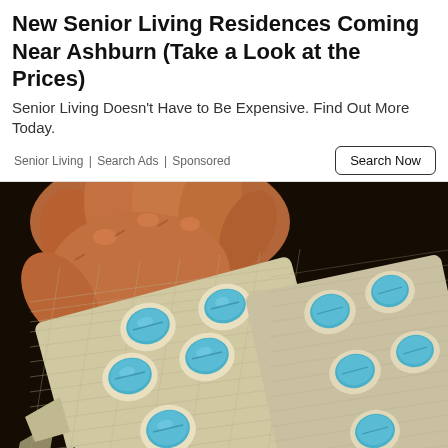New Senior Living Residences Coming Near Ashburn (Take a Look at the Prices)
Senior Living Doesn't Have to Be Expensive. Find Out More Today.
Senior Living | Search Ads | Sponsored
[Figure (photo): A hand holding two blister packs containing blue diamond-shaped pills (Viagra/sildenafil), photographed against a dark background.]
ED Treatments You May Not Believe Exist